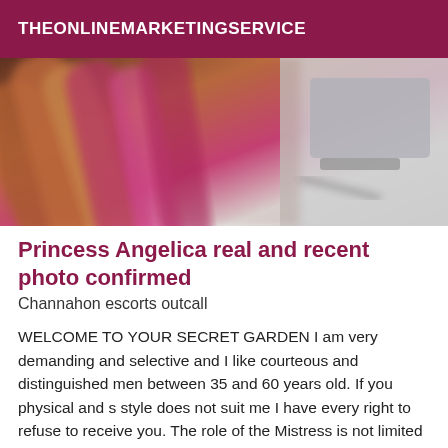THEONLINEMARKETINGSERVICE
[Figure (photo): Blurry close-up photo showing colorful hair (orange, pink, brown tones) and what appears to be a laptop or electronic device in the background.]
Princess Angelica real and recent photo confirmed
Channahon escorts outcall
WELCOME TO YOUR SECRET GARDEN I am very demanding and selective and I like courteous and distinguished men between 35 and 60 years old. If you physical and s style does not suit me I have every right to refuse to receive you. The role of the Mistress is not limited to knowing how to handle a whip or any other instrument. It is much deeper than that. I must discover